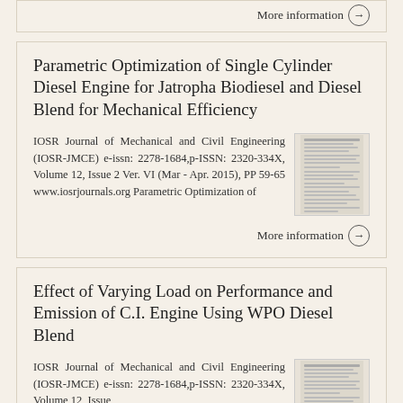More information →
Parametric Optimization of Single Cylinder Diesel Engine for Jatropha Biodiesel and Diesel Blend for Mechanical Efficiency
IOSR Journal of Mechanical and Civil Engineering (IOSR-JMCE) e-issn: 2278-1684,p-ISSN: 2320-334X, Volume 12, Issue 2 Ver. VI (Mar - Apr. 2015), PP 59-65 www.iosrjournals.org Parametric Optimization of
More information →
Effect of Varying Load on Performance and Emission of C.I. Engine Using WPO Diesel Blend
IOSR Journal of Mechanical and Civil Engineering (IOSR-JMCE) e-issn: 2278-1684,p-ISSN: 2320-334X, Volume 12, Issue